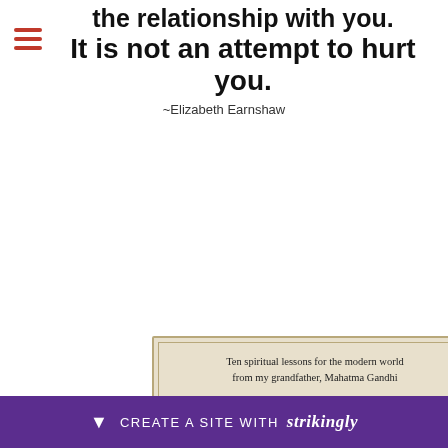the relationship with you. It is not an attempt to hurt you.
~Elizabeth Earnshaw
[Figure (photo): Book cover showing 'The Gift of' with subtitle 'Ten spiritual lessons for the modern world from my grandfather, Mahatma Gandhi']
Cookie Use
We use cookies to ensure a smooth browsing experience. By accepting, you agree the use of cookies. Learn More
Acce[pt]
CREATE A SITE WITH strikingly